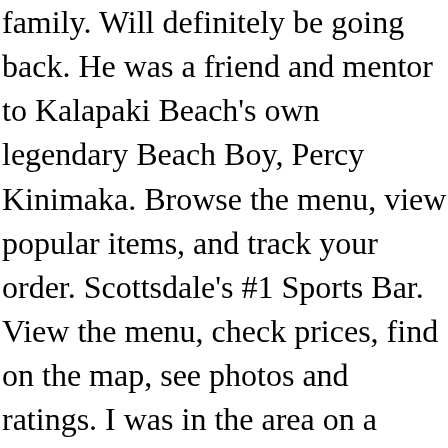family. Will definitely be going back. He was a friend and mentor to Kalapaki Beach's own legendary Beach Boy, Percy Kinimaka. Browse the menu, view popular items, and track your order. Scottsdale's #1 Sports Bar. View the menu, check prices, find on the map, see photos and ratings. I was in the area on a Monday afternoon checking out the Mission Inn Hotel-I'll write a separate review on that later. 187 were here. Delivery & Pickup Options - 268 reviews of Duke's Bar And Grill "I was so SO excited there